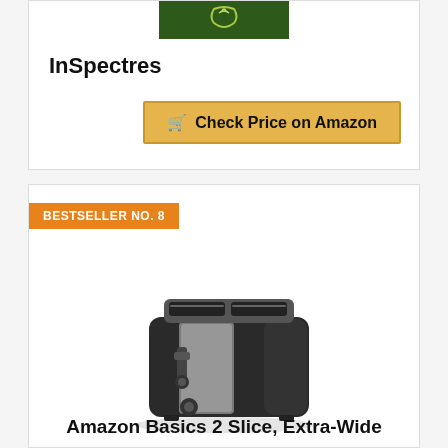[Figure (logo): InSpectres logo on dark green background with stylized design]
InSpectres
Check Price on Amazon
BESTSELLER NO. 8
[Figure (photo): Amazon Basics 2-slice extra-wide toaster, black and silver stainless steel finish]
Amazon Basics 2 Slice, Extra-Wide